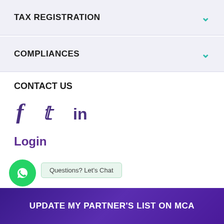TAX REGISTRATION
COMPLIANCES
CONTACT US
[Figure (infographic): Social media icons: Facebook (f), Twitter (bird), LinkedIn (in) in purple color]
Login
[Figure (infographic): WhatsApp chat button (green circle with phone icon) and chat bubble saying 'Questions? Let's Chat']
Privacy Policy   Terms and Conditions   Refund Policy
UPDATE MY PARTNER'S LIST ON MCA